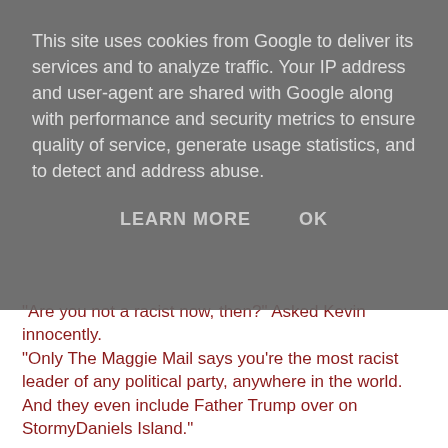This site uses cookies from Google to deliver its services and to analyze traffic. Your IP address and user-agent are shared with Google along with performance and security metrics to ensure quality of service, generate usage statistics, and to detect and address abuse.
LEARN MORE   OK
"Are you not a racist now, then?" Asked Kevin innocently. "Only The Maggie Mail says you're the most racist leader of any political party, anywhere in the world. And they even include Father Trump over on StormyDaniels Island."
"No. I'm not a racist! Its all just a misunderstanding. I need some way to make people see that."
"I've an idea Jez. A real inclusive-embracing-rainbow type of progressive idea. So its probably a load of old nonsense like they always are. Tap-Dance-for-Gaza and that kind of rubbish thing. But anyway here it is.
Why don't you organise something our supporters really enjoy. Something like an all faiths special event?